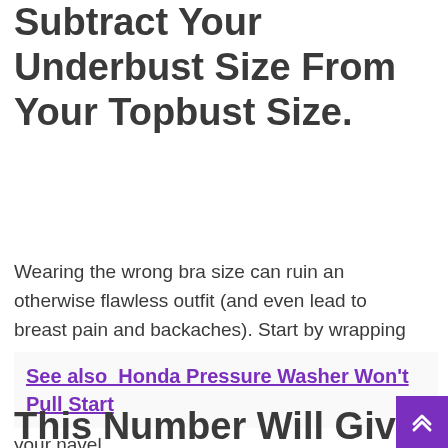Subtract Your Underbust Size From Your Topbust Size.
Wearing the wrong bra size can ruin an otherwise flawless outfit (and even lead to breast pain and backaches). Start by wrapping the tape measure around your breasts, placing it at the fullest part of your bust. This is the narrow part of your waist, about an inch above your navel.
See also  Honda Pressure Washer Won't Pull Start
This Number Will Give You